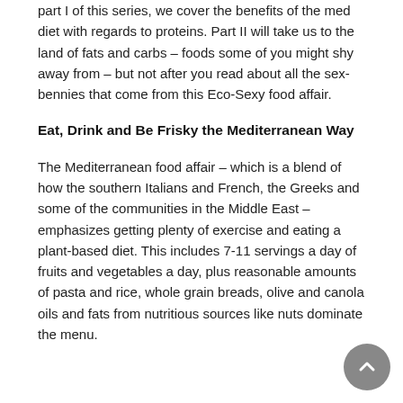part I of this series, we cover the benefits of the med diet with regards to proteins. Part II will take us to the land of fats and carbs – foods some of you might shy away from – but not after you read about all the sex-bennies that come from this Eco-Sexy food affair.
Eat, Drink and Be Frisky the Mediterranean Way
The Mediterranean food affair – which is a blend of how the southern Italians and French, the Greeks and some of the communities in the Middle East – emphasizes getting plenty of exercise and eating a plant-based diet. This includes 7-11 servings a day of fruits and vegetables a day, plus reasonable amounts of pasta and rice, whole grain breads, olive and canola oils and fats from nutritious sources like nuts dominate the menu.